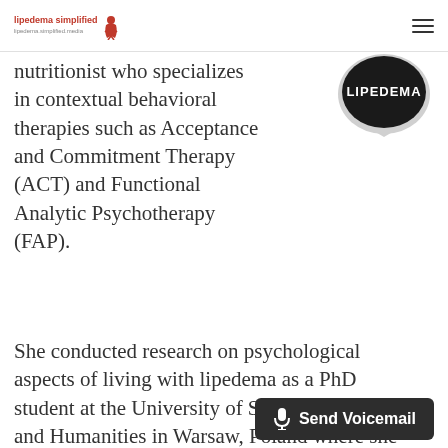lipedema simplified
nutritionist who specializes in contextual behavioral therapies such as Acceptance and Commitment Therapy (ACT) and Functional Analytic Psychotherapy (FAP).
[Figure (logo): Lipedema circular badge/icon with speech bubble shape, dark background with white text 'LIPEDEMA']
She conducted research on psychological aspects of living with lipedema as a PhD student at the University of Social Sciences and Humanities in Warsaw, Poland where she is now an instructor.